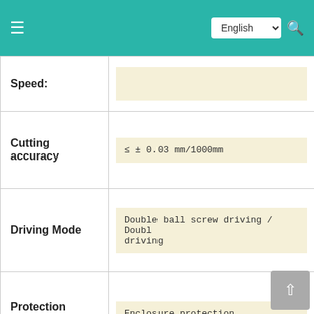English (language selector) / Search icon / Menu icon
| Property | Value |
| --- | --- |
| Speed: |  |
| Cutting accuracy | ≤ ± 0.03 mm/1000mm |
| Driving Mode | Double ball screw driving / Double driving |
| Protection System | Enclosure protection |
| Cooling Type | Water Cooling |
| Software | Metal Nesting Software |